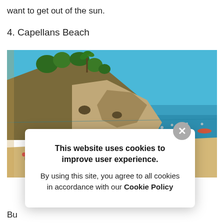want to get out of the sun.
4. Capellans Beach
[Figure (photo): A beach scene showing a rocky cliff covered in green trees on the left, with a sandy beach below packed with sunbathers and colorful umbrellas. The sea is a bright blue-turquoise color on the right, with a clear blue sky above. People can be seen in the water and on the beach.]
This website uses cookies to improve user experience.
By using this site, you agree to all cookies in accordance with our Cookie Policy
Bu